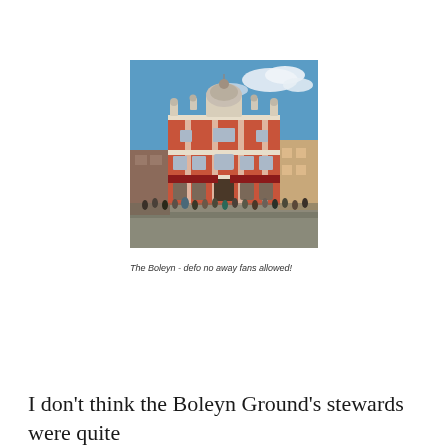[Figure (photo): Photo of The Boleyn pub/building – a Victorian red brick and cream ornate corner building with a large dome and decorative facades. A crowd of people stands on the street in front. Blue sky with clouds in background.]
The Boleyn - defo no away fans allowed!
I don't think the Boleyn Ground's stewards were quite